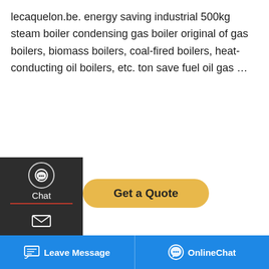lecaquelon.be. energy saving industrial 500kg steam boiler condensing gas boiler original of gas boilers, biomass boilers, coal-fired boilers, heat-conducting oil boilers, etc. ton save fuel oil gas ...
[Figure (screenshot): Website UI overlay with dark sidebar showing Chat, Email, Contact icons; a yellow Get a Quote button; a photo of an industrial boiler room; a WhatsApp save stickers popup; and a blue bottom bar with Leave Message and OnlineChat buttons.]